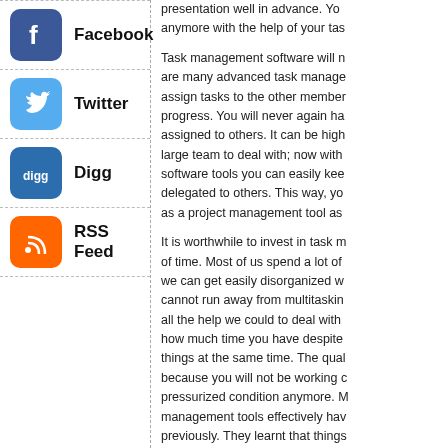Facebook
Twitter
Digg
RSS Feed
presentation well in advance. You anymore with the help of your tas
Task management software will n are many advanced task manage assign tasks to the other member progress. You will never again ha assigned to others. It can be high large team to deal with; now with software tools you can easily kee delegated to others. This way, yo as a project management tool as
It is worthwhile to invest in task m of time. Most of us spend a lot of we can get easily disorganized w cannot run away from multitaskin all the help we could to deal with how much time you have despite things at the same time. The qual because you will not be working c pressurized condition anymore. M management tools effectively hav previously. They learnt that things question of getting more organize software tools helped them do. Th personal life.
There are various types of task m